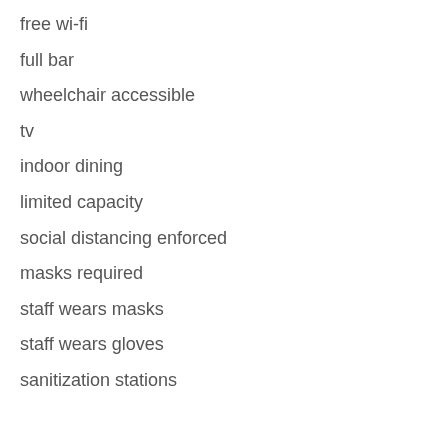free wi-fi
full bar
wheelchair accessible
tv
indoor dining
limited capacity
social distancing enforced
masks required
staff wears masks
staff wears gloves
sanitization stations